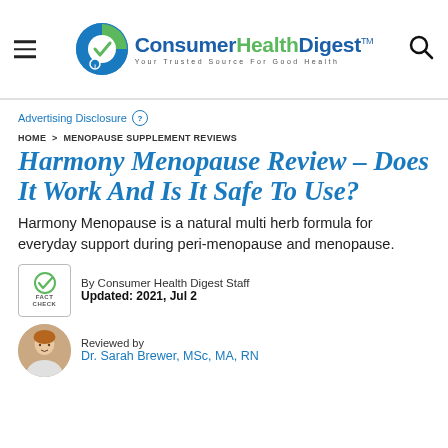Consumer Health Digest — Your Trusted Source For Good Health
Advertising Disclosure ?
HOME > MENOPAUSE SUPPLEMENT REVIEWS
Harmony Menopause Review – Does It Work And Is It Safe To Use?
Harmony Menopause is a natural multi herb formula for everyday support during peri-menopause and menopause.
By Consumer Health Digest Staff
Updated: 2021, Jul 2
Reviewed by
Dr. Sarah Brewer, MSc, MA, RN